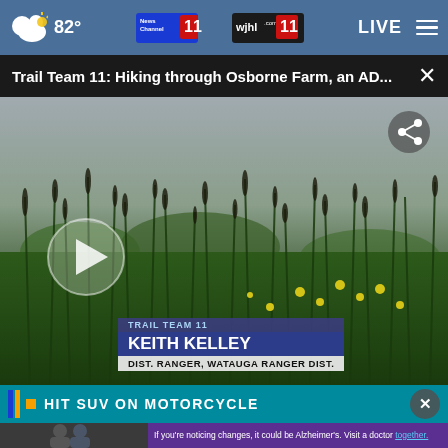82° | News Channel 11 / wjhl.com 11 | LIVE
Trail Team 11: Hiking through Osborne Farm, an AD...
[Figure (screenshot): Video thumbnail showing a grassy meadow with tall reeds and yellow wildflowers under a cloudy sky. Overlay shows a play button, share icon, and lower-thirds graphic reading TRAIL TEAM 11 / KEITH KELLEY / DIST. RANGER, WATAUGA RANGER DIST.]
TRAIL TEAM 11 / KEITH KELLEY / DIST. RANGER, WATAUGA RANGER DIST.
HIT SUV ON MOTORCYCLE
If you're noticing changes, it could be Alzheimer's. Visit a doctor together.